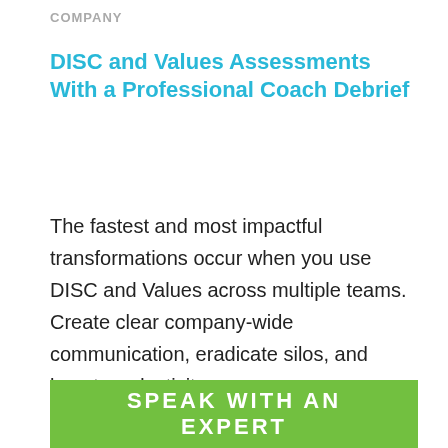COMPANY
DISC and Values Assessments With a Professional Coach Debrief
The fastest and most impactful transformations occur when you use DISC and Values across multiple teams. Create clear company-wide communication, eradicate silos, and boost productivity.
SPEAK WITH AN EXPERT